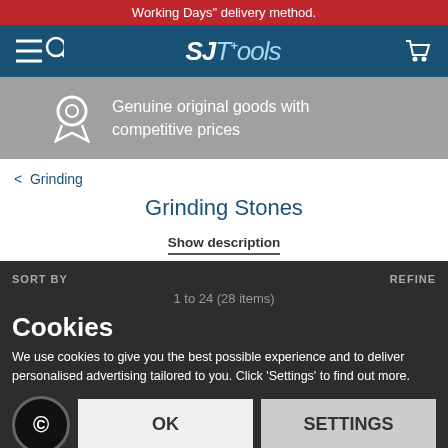Working Days" delivery method.
[Figure (logo): SJTools logo with shopping cart icon and hamburger menu on blue navigation bar]
Genuine original goods with competitive prices
< Grinding
Grinding Stones
Show description
SORT BY
REFINE
1 to 24 (28 items)
Cookies
We use cookies to give you the best possible experience and to deliver personalised advertising tailored to you. Click 'Settings' to find out more.
OK
SETTINGS